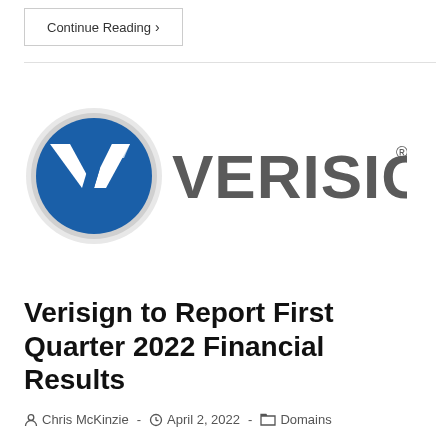Continue Reading ›
[Figure (logo): VeriSign logo: a circular blue button with a white V-shaped checkmark icon, next to the text 'VERISIGN' in large gray sans-serif letters with a registered trademark symbol]
Verisign to Report First Quarter 2022 Financial Results
Chris McKinzie · April 2, 2022 · Domains